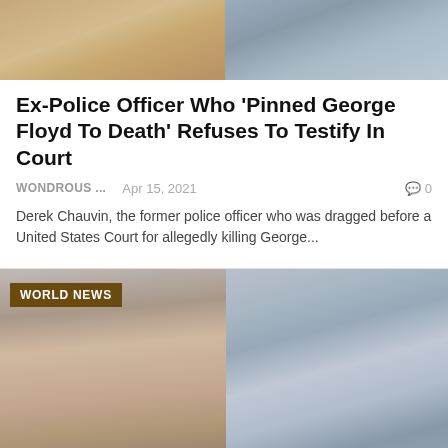[Figure (photo): Top banner image split into two halves showing a desk/office scene on left and a lighter scene on right]
Ex-Police Officer Who 'Pinned George Floyd To Death' Refuses To Testify In Court
WONDROUS ...    Apr 15, 2021    0
Derek Chauvin, the former police officer who was dragged before a United States Court for allegedly killing George...
[Figure (photo): Two photos of Derek Chauvin side by side: left is a mugshot showing him in a dark shirt against a gray background, right shows him in a police uniform with sunglasses on his head. A 'WORLD NEWS' badge appears in the upper left corner.]